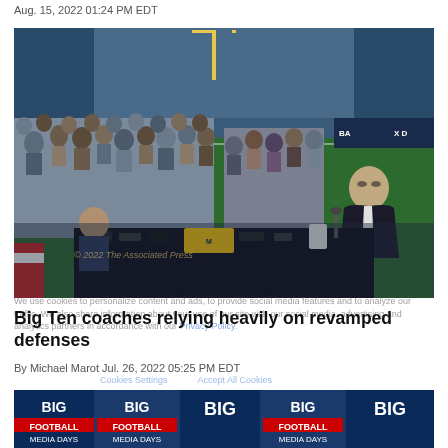Aug. 15, 2022 01:24 PM EDT
[Figure (photo): A man in a dark suit sits at a black-draped table with microphones and phones on it, addressing a large crowd of reporters and media personnel at a press conference inside a football stadium.]
Big Ten coaches relying heavily on revamped defenses
By Michael Marot Jul. 26, 2022 05:25 PM EDT
[Figure (photo): Partial view of a Big Ten Football Media Days banner/backdrop with the Big Ten logo repeated.]